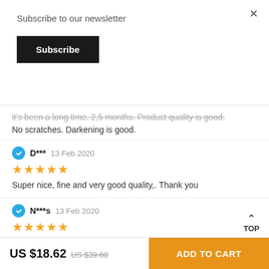Subscribe to our newsletter
Subscribe
it's been a long time. 2,5 months. Product quality is good. No scratches. Darkening is good.
D*** 13 Feb 2020
★★★★★
Super nice, fine and very good quality,. Thank you
N***s 13 Feb 2020
★★★★★
Total beautiful mind
[Figure (photo): Two product review photos showing sunglasses]
TOP
US $18.62  US $39.60  ADD TO CART